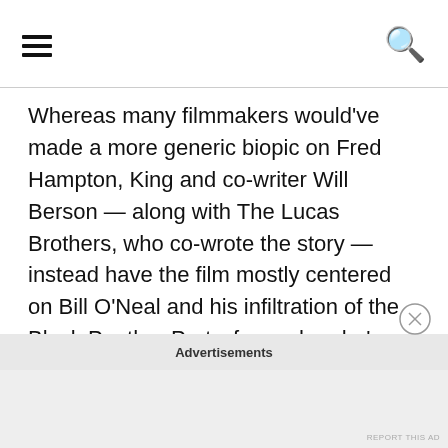[hamburger menu icon] [search icon]
Whereas many filmmakers would've made a more generic biopic on Fred Hampton, King and co-writer Will Berson — along with The Lucas Brothers, who co-wrote the story — instead have the film mostly centered on Bill O'Neal and his infiltration of the Black Panther Party, from when he's forced by the FBI to be their informant to the unfortunate downfall of Fred Hampton, which I'd argue is an incredibly bold choice, especially considering that Fred Hampton isn't as well-known to people as he should be. As a whole, Judas and the Black Messiah is unapologetically political and wholly unafraid of being so, which I greatly admired and appreciated. The film
Advertisements